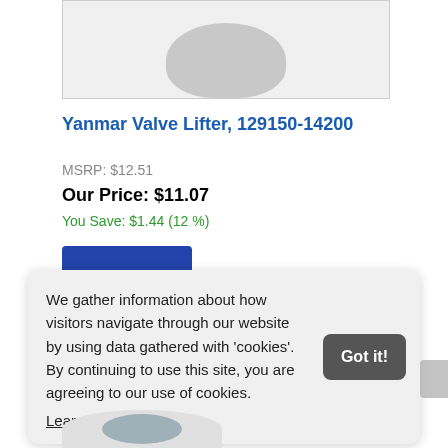[Figure (photo): Product image of Yanmar Valve Lifter, partially visible at top of page]
Yanmar Valve Lifter, 129150-14200
MSRP: $12.51
Our Price: $11.07
You Save: $1.44 (12 %)
We gather information about how visitors navigate through our website by using data gathered with 'cookies'. By continuing to use this site, you are agreeing to our use of cookies.
Learn more
[Figure (photo): Partial product image visible at bottom of page]